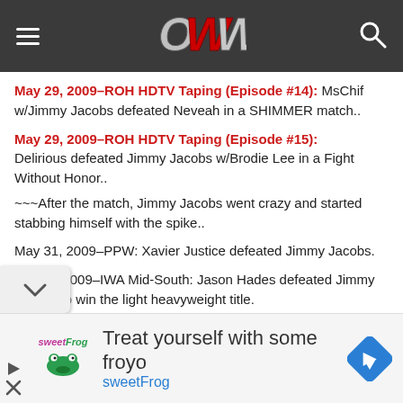OWW (Online World of Wrestling) website header with logo and navigation
May 29, 2009–ROH HDTV Taping (Episode #14): MsChif w/Jimmy Jacobs defeated Neveah in a SHIMMER match..
May 29, 2009–ROH HDTV Taping (Episode #15): Delirious defeated Jimmy Jacobs w/Brodie Lee in a Fight Without Honor..
~~~After the match, Jimmy Jacobs went crazy and started stabbing himself with the spike..
May 31, 2009–PPW: Xavier Justice defeated Jimmy Jacobs.
June 5, 2009–IWA Mid-South: Jason Hades defeated Jimmy Jacobs to win the light heavyweight title.
[Figure (other): Advertisement banner for sweetFrog frozen yogurt with logo, headline text 'Treat yourself with some froyo', and navigation icon]